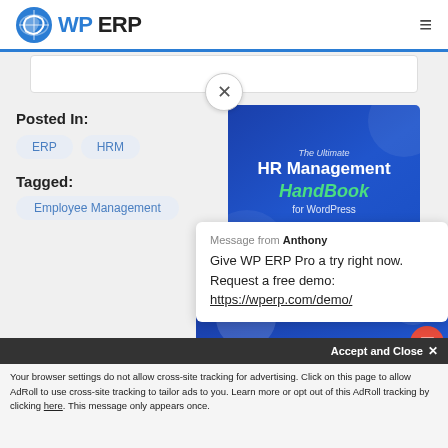[Figure (logo): WP ERP logo with blue globe icon and text 'WP ERP']
Posted In:
ERP   HRM
Tagged:
Employee Management
[Figure (illustration): HR Management HandBook for WordPress book cover in blue]
Message from Anthony
Give WP ERP Pro a try right now. Request a free demo: https://wperp.com/demo/
About
Accept and Close ✕
Your browser settings do not allow cross-site tracking for advertising. Click on this page to allow AdRoll to use cross-site tracking to tailor ads to you. Learn more or opt out of this AdRoll tracking by clicking here. This message only appears once.
Want to be a Digital HR...